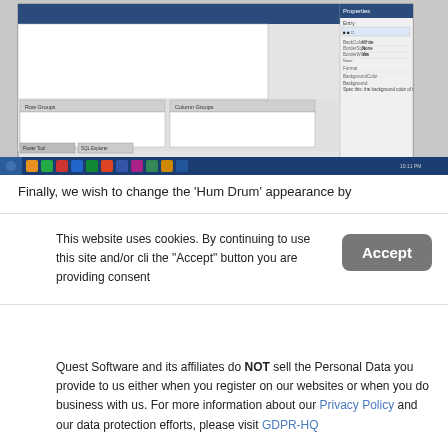[Figure (screenshot): Screenshot of a software application (likely a database or form designer tool) showing a dark blue menu bar, a white panel area, bottom panels with 'Row Groups' and 'Column Groups' tabs, a right-side properties panel with fields like BackColor, BorderStyle, BorderWidth, BorderColor, and a blue taskbar with application icons at the bottom.]
Finally, we wish to change the 'Hum Drum' appearance by
This website uses cookies. By continuing to use this site and/or cli... the "Accept" button you are providing consent
Quest Software and its affiliates do NOT sell the Personal Data you provide to us either when you register on our websites or when you do business with us. For more information about our Privacy Policy and our data protection efforts, please visit GDPR-HQ